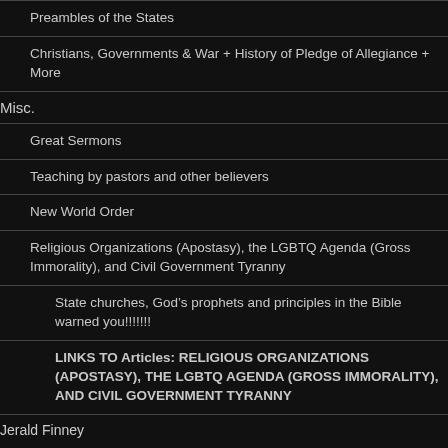Preambles of the States
Christians, Governments & War + History of Pledge of Allegiance + More
Misc.
Great Sermons
Teaching by pastors and other believers
New World Order
Religious Organizations (Apostasy), the LGBTQ Agenda (Gross Immorality), and Civil Government Tyranny
State churches, God’s prophets and principles in the Bible warned you!!!!!!!
LINKS TO Articles: RELIGIOUS ORGANIZATIONS (APOSTASY), THE LGBTQ AGENDA (GROSS IMMORALITY), AND CIVIL GOVERNMENT TYRANNY
Jerald Finney